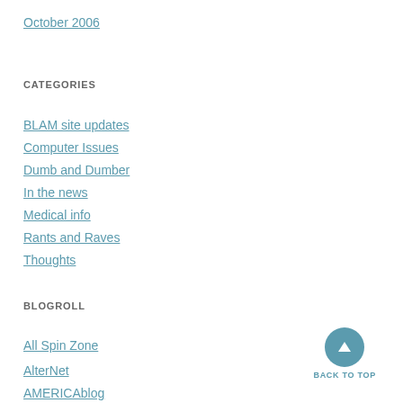October 2006
CATEGORIES
BLAM site updates
Computer Issues
Dumb and Dumber
In the news
Medical info
Rants and Raves
Thoughts
BLOGROLL
All Spin Zone
AlterNet
AMERICAblog